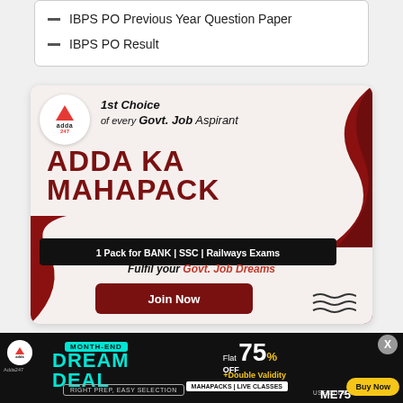IBPS PO Previous Year Question Paper
IBPS PO Result
[Figure (illustration): Adda247 advertisement banner for ADDA KA MAHAPACK - 1st Choice of every Govt. Job Aspirant. 1 Pack for BANK | SSC | Railways Exams. Fulfil your Govt. Job Dreams. Join Now button.]
[Figure (illustration): Adda247 Month-End Dream Deal advertisement. Flat 75% OFF + Double Validity on MAHAPACKS | LIVE CLASSES. Use code ME75. Buy Now button. Right Prep, Easy Selection.]